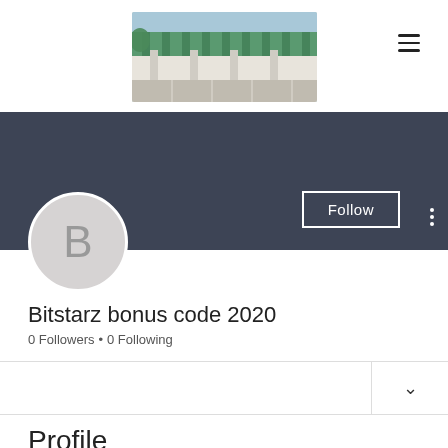[Figure (photo): Exterior photo of a commercial building with a green and white striped roof and parking lot]
[Figure (screenshot): Dark gray profile banner with a Follow button and three-dot menu icon]
[Figure (illustration): Gray circle avatar with letter B]
Bitstarz bonus code 2020
0 Followers • 0 Following
Profile